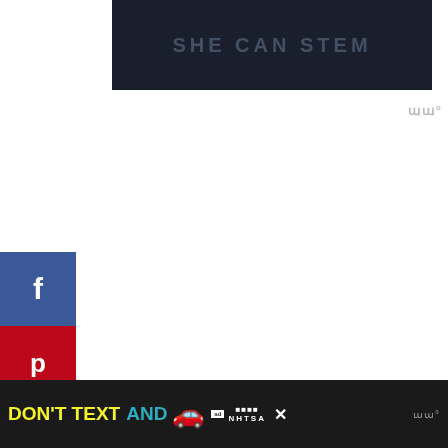[Figure (screenshot): Dark banner image with 'SHE CAN STEM' text in grey/blue tones]
[Figure (logo): Mediavine logo top right, grey text 'W°']
1.  Buy the Roma Pass
Get the most out of your time in Rome by combining the Roma Pass with a hop-on, hop-off tour.
We love Hop-on, hop-off tours to orient ourselves in a new city. This tour also includes you
[Figure (screenshot): Bottom advertisement banner: 'DON'T TEXT AND DRIVE' with car emoji, ad badge, NHTSA logo, close button, and Mediavine logo]
[Figure (other): Facebook share button (blue)]
[Figure (other): Pinterest save button (red)]
[Figure (other): Flipboard share button (red)]
[Figure (other): Twitter share button (blue)]
20015
SHARES
[Figure (other): Heart/save button (pink circle) with 20K count]
[Figure (other): Share button (grey circle)]